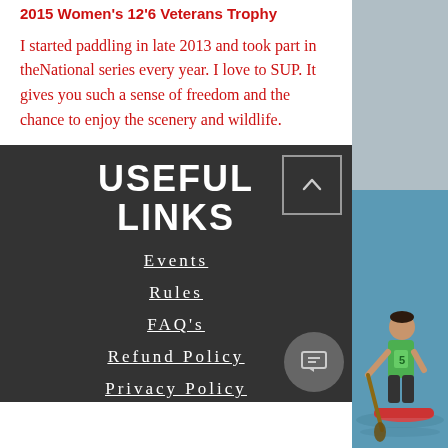2015 Women's 12'6 Veterans Trophy
I started paddling in late 2013 and took part in theNational series every year. I love to SUP. It gives you such a sense of freedom and the chance to enjoy the scenery and wildlife.
USEFUL LINKS
Events
Rules
FAQ's
Refund Policy
Privacy Policy
[Figure (photo): Person paddle boarding on water wearing green vest, racing on a red board]